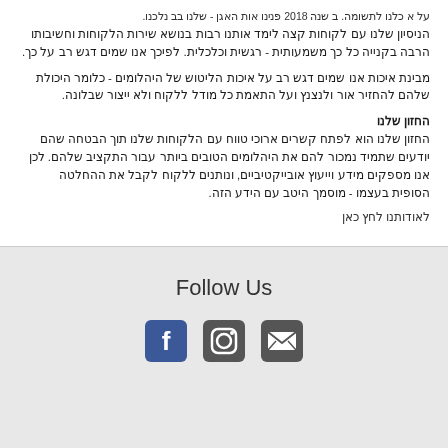על א כלנו לתשומה. ב שנה 2018 פנינו אות האגן - שלנו בב נלכנו.
הניסיון שלנו עם לקוחות קצה לימד אותנו רבות בנושא שירות הלקוחות וחשיבותו הרבה בקנייה כל כך משמעותית - רגשית וכלכלית. לפיכך אנו שמים דגש רב על כך.
מבינת איכות אנו שמים דגש רב על איכות הליטוש של היהלומים - כלומר היכולת שלהם להחזיר אור ולנצנץ ועל התאמת כל מודל ללקוח ולא ייצור שבלונה.
החזון שלנו
החזון שלנו הוא לפתח קשרים ארוכי טווח עם הלקוחות שלנו תוך הבטחה שהם יודעים שתמיד נמכור להם את היהלומים הטובים ביותר עבור התקציב שלהם. לכן אנו מספקים מידע וייעוץ אובייקטיביים, ונותנים ללקוח לקבל את ההחלטה הסופית בעצמו - מוסמך היטב עם הידע הזה.
לאודותנו לחץ כאן
Follow Us
[Figure (illustration): Social media icons: Facebook, Instagram, Gmail]